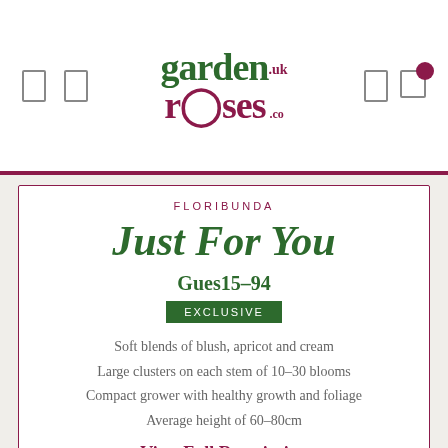[Figure (logo): Garden Roses .co.uk logo with navigation icons]
FLORIBUNDA
Just For You
Gues15-94
EXCLUSIVE
Soft blends of blush, apricot and cream
Large clusters on each stem of 10-30 blooms
Compact grower with healthy growth and foliage
Average height of 60-80cm
View Full Description